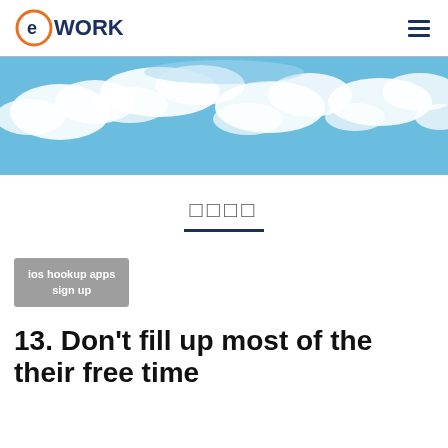eWORK
[Figure (photo): Blue sky with white clouds, panoramic banner image]
□□□□
ios hookup apps sign up
13. Don't fill up most of the their free time